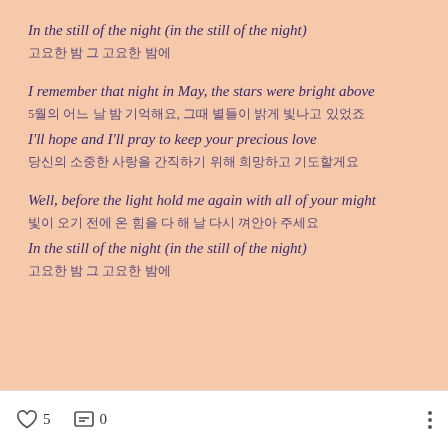In the still of the night (in the still of the night)
고요한 밤 그 고요한 밤에
I remember that night in May, the stars were bright above
5월의 어느 날 밤 기억해요, 그때 별들이 밝게 빛나고 있었죠
I'll hope and I'll pray to keep your precious love
당신의 소중한 사랑을 간직하기 위해 희망하고 기도할게요
Well, before the light hold me again with all of your might
빛이 오기 전에 온 힘을 다 해 날 다시 껴안아 주세요
In the still of the night (in the still of the night)
고요한 밤 그 고요한 밤에
♡ 5   💬 0